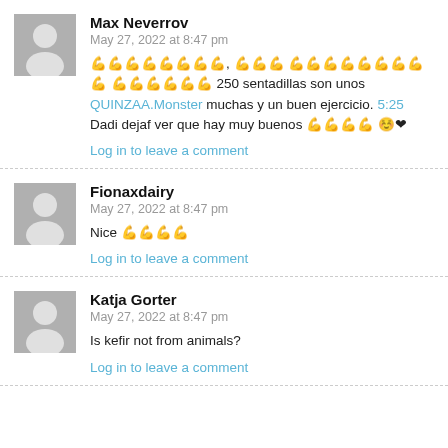Max Neverov — May 27, 2022 at 8:47 pm — comment text — Log in to leave a comment
Fionaxdairy — May 27, 2022 at 8:47 pm — Nice 🤍🤍🤍🤍 — Log in to leave a comment
Katja Gorter — May 27, 2022 at 8:47 pm — Is kefir not from animals? — Log in to leave a comment